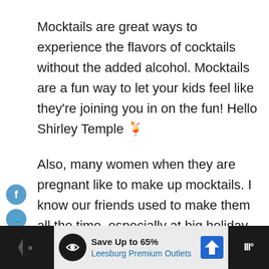Mocktails are great ways to experience the flavors of cocktails without the added alcohol. Mocktails are a fun way to let your kids feel like they're joining you in on the fun! Hello Shirley Temple 🍹
Also, many women when they are pregnant like to make up mocktails. I know our friends used to make them all the time, especially at big holiday parties like Halloween, Christmas and New
[Figure (other): Social media share sidebar with Facebook, Twitter, Pinterest, and YouTube icons]
[Figure (other): Advertisement banner: Save Up to 65% Leesburg Premium Outlets with logo icons]